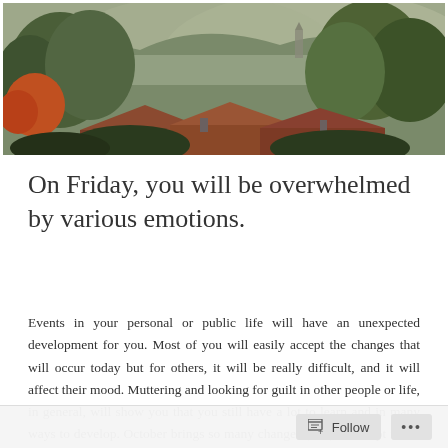[Figure (photo): Landscape photo of a hillside village with trees, rooftops with red tiles, and misty mountains in the background. Lush green and autumn-colored trees dominate the scene.]
On Friday, you will be overwhelmed by various emotions.
Events in your personal or public life will have an unexpected development for you. Most of you will easily accept the changes that will occur today but for others, it will be really difficult, and it will affect their mood. Muttering and looking for guilt in other people or life, in general, will show you that you still have a lot to learn and in many ways to develop. October brings so many changes (still), so adapt faster to this new lifestyle. It will be an auspicious day for treatment, for recovery after physical, financial, health or emotional difficulties. Those of you who have a child born under the sign of
Follow ...